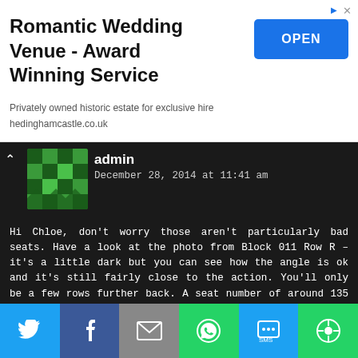[Figure (screenshot): Advertisement banner for Romantic Wedding Venue with OPEN button]
admin
December 28, 2014 at 11:41 am
Hi Chloe, don't worry those aren't particularly bad seats. Have a look at the photo from Block 011 Row R – it's a little dark but you can see how the angle is ok and it's still fairly close to the action. You'll only be a few rows further back. A seat number of around 135 would probably be idea for that block/row. Have a great time and please remember to come back and upload a pic!
← Reply
Jenna
December 23, 2014 at 3:22 pm
[Figure (infographic): Social share bar with Twitter, Facebook, Email, WhatsApp, SMS, and other share icons]